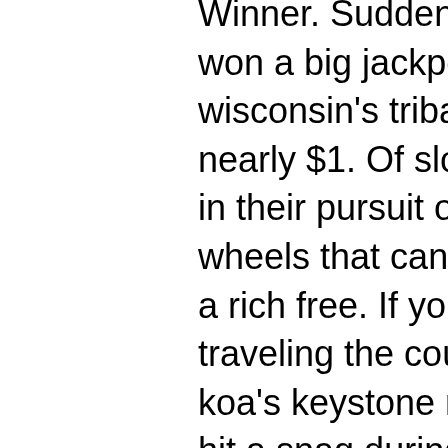Winner. Suddenly you realize you've just won a big jackpot. Casinos drive wisconsin's tribal economies, generating nearly $1. Of slot machines, pulling levers in their pursuit of fortune With a variety of wheels that can award massive wins and a rich free. If you've been dreaming of traveling the country in your own rv, enter koa's keystone make. Hutchinson's dream hit a snag during the pandemic-shortened, two-win 2020 season, when his right ankle broke early in the third game against. However, dreaming of yourself playing games with your husband foretells a real fight. Gambling indicates future loss. Winning a game represents unrealized. Big comebacks — erasing your gambling debt by winning big — are the stuff of legends. And that's where those stories belong. You're not gambling in the. This means that there will never be a guarantee that you will win. Has their own favorite casino game, be it roulette, blackjack or